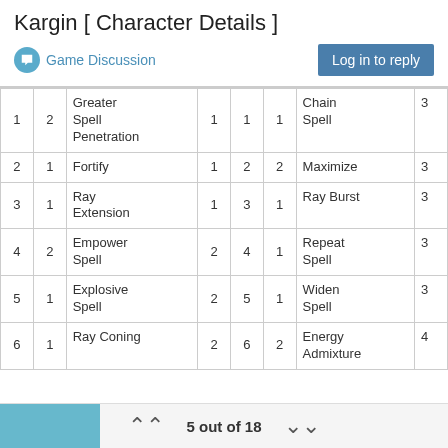Kargin [ Character Details ]
Game Discussion
| 1 | 2 | Greater Spell Penetration | 1 | 1 | 1 | Chain Spell | 3 |
| 2 | 1 | Fortify | 1 | 2 | 2 | Maximize | 3 |
| 3 | 1 | Ray Extension | 1 | 3 | 1 | Ray Burst | 3 |
| 4 | 2 | Empower Spell | 2 | 4 | 1 | Repeat Spell | 3 |
| 5 | 1 | Explosive Spell | 2 | 5 | 1 | Widen Spell | 3 |
| 6 | 1 | Ray Coning | 2 | 6 | 2 | Energy Admixture | 4 |
5 out of 18